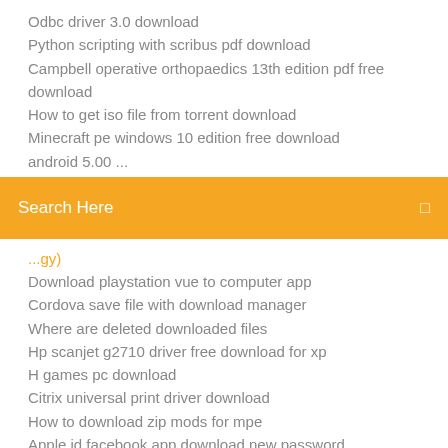Odbc driver 3.0 download
Python scripting with scribus pdf download
Campbell operative orthopaedics 13th edition pdf free download
How to get iso file from torrent download
Minecraft pe windows 10 edition free download
[truncated item]
[Figure (screenshot): Orange search bar with 'Search Here' text and a small icon on the right]
[partially visible item]
Download playstation vue to computer app
Cordova save file with download manager
Where are deleted downloaded files
Hp scanjet g2710 driver free download for xp
H games pc download
Citrix universal print driver download
How to download zip mods for mpe
Apple id facebook app download new password
Windows 7 audio driver software free download
Download sarahah for android